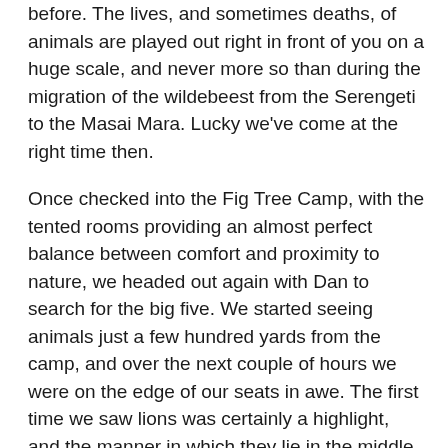before. The lives, and sometimes deaths, of animals are played out right in front of you on a huge scale, and never more so than during the migration of the wildebeest from the Serengeti to the Masai Mara. Lucky we've come at the right time then.
Once checked into the Fig Tree Camp, with the tented rooms providing an almost perfect balance between comfort and proximity to nature, we headed out again with Dan to search for the big five. We started seeing animals just a few hundred yards from the camp, and over the next couple of hours we were on the edge of our seats in awe. The first time we saw lions was certainly a highlight, and the manner in which they lie in the middle of the tracks, virtually unaware of the vehicles that gather around them, is just wonderful to watch.